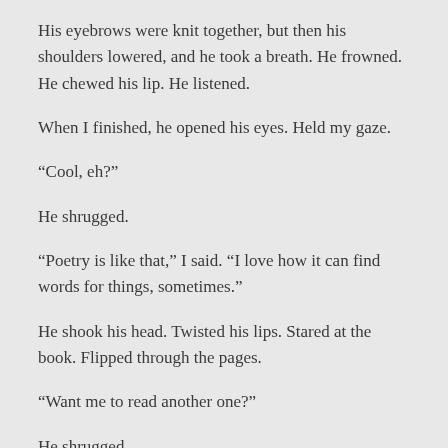His eyebrows were knit together, but then his shoulders lowered, and he took a breath. He frowned. He chewed his lip. He listened.
When I finished, he opened his eyes. Held my gaze.
“Cool, eh?”
He shrugged.
“Poetry is like that,” I said. “I love how it can find words for things, sometimes.”
He shook his head. Twisted his lips. Stared at the book. Flipped through the pages.
“Want me to read another one?”
He shrugged.